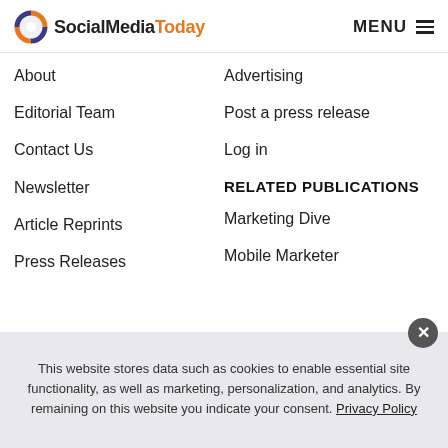SocialMediaToday MENU
About
Advertising
Editorial Team
Post a press release
Contact Us
Log in
Newsletter
Article Reprints
Press Releases
RELATED PUBLICATIONS
Marketing Dive
Mobile Marketer
This website stores data such as cookies to enable essential site functionality, as well as marketing, personalization, and analytics. By remaining on this website you indicate your consent. Privacy Policy